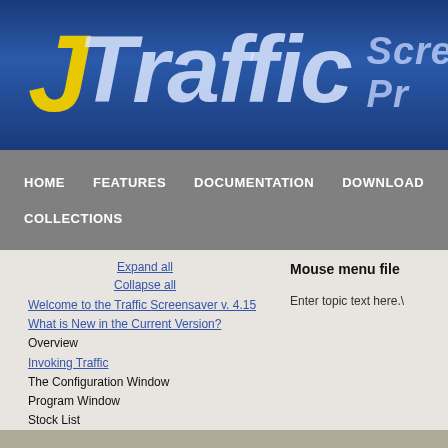JTraffic Screensaver Pro
HOME | FEATURES | DOCUMENTATION | DOWNLOAD | COLLECTIONS
Expand all
Collapse all
Welcome to the Traffic Screensaver v. 4.15
What is New in the Current Version?
Overview
Invoking Traffic
The Configuration Window
Program Window
Stock List
Description Editor
Graphic Testpad
Timetable Editor
Timetable Syntax and Semanics
Stock List File
Mouse menu file
Enter topic text here.\